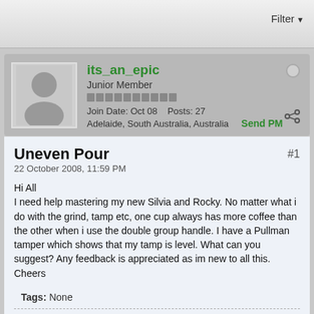Filter
its_an_epic
Junior Member
Join Date: Oct 08   Posts: 27
Adelaide, South Australia, Australia   Send PM
Uneven Pour
22 October 2008, 11:59 PM
Hi All
I need help mastering my new Silvia and Rocky. No matter what i do with the grind, tamp etc, one cup always has more coffee than the other when i use the double group handle. I have a Pullman tamper which shows that my tamp is level. What can you suggest? Any feedback is appreciated as im new to all this.
Cheers
Tags: None